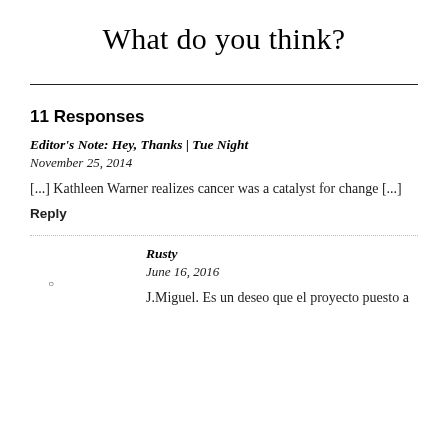What do you think?
11 Responses
Editor's Note: Hey, Thanks | Tue Night
November 25, 2014

[...] Kathleen Warner realizes cancer was a catalyst for change [...]

Reply
Rusty
June 16, 2016

J.Miguel. Es un deseo que el proyecto puesto a